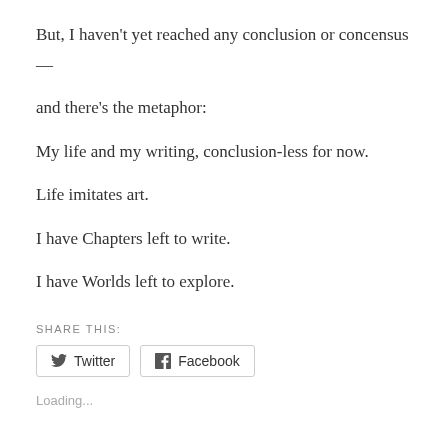But, I haven't yet reached any conclusion or concensus
—
and there's the metaphor:
My life and my writing, conclusion-less for now.
Life imitates art.
I have Chapters left to write.
I have Worlds left to explore.
SHARE THIS:
Twitter  Facebook
Loading...